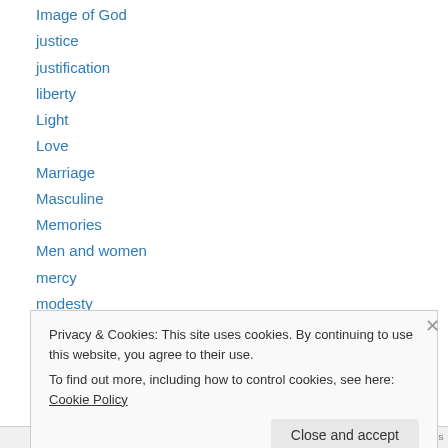Image of God
justice
justification
liberty
Light
Love
Marriage
Masculine
Memories
Men and women
mercy
modesty
mother
Privacy & Cookies: This site uses cookies. By continuing to use this website, you agree to their use. To find out more, including how to control cookies, see here: Cookie Policy
Close and accept